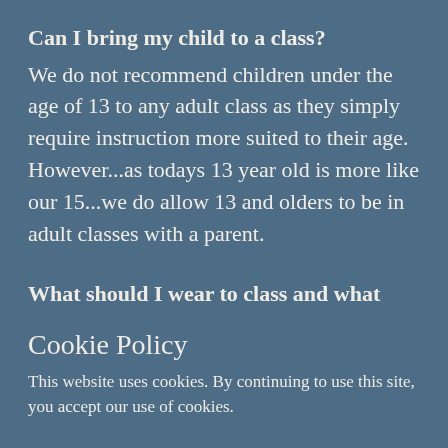Can I bring my child to a class?
We do not recommend children under the age of 13 to any adult class as they simply require instruction more suited to their age. However...as todays 13 year old is more like our 15...we do allow 13 and olders to be in adult classes with a parent.
What should I wear to class and what
Cookie Policy
This website uses cookies. By continuing to use this site, you accept our use of cookies.